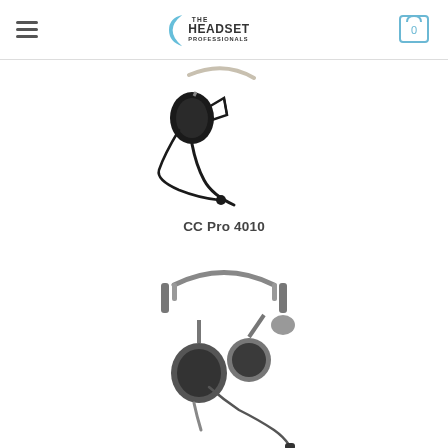The Headset Professionals
[Figure (photo): Black monaural headset with single ear speaker and flexible boom microphone, labeled CC Pro 4010]
CC Pro 4010
[Figure (photo): Gray binaural headset with two ear speakers and flexible boom microphone]